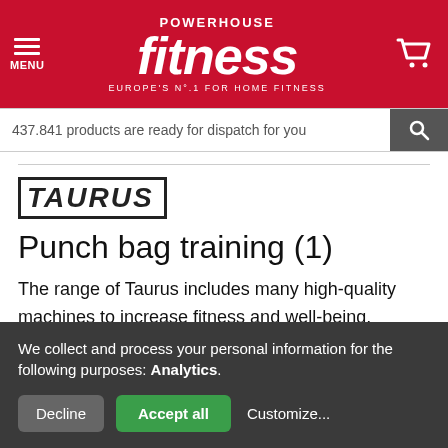POWERHOUSE fitness — EUROPE'S N°.1 FOR HOME FITNESS
437.841 products are ready for dispatch for you
[Figure (logo): TAURUS brand logo in bold italic uppercase letters with border]
Punch bag training (1)
The range of Taurus includes many high-quality machines to increase fitness and well-being. Besides equipment of the Taurus Punch bag training, there is also wide-range accessory available. Have a lot of fun exercising with Taurus.
We collect and process your personal information for the following purposes: Analytics.
Decline | Accept all | Customize...